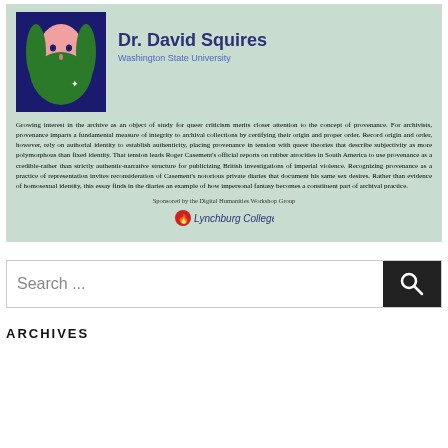[Figure (illustration): Stylized graphic portrait of a man with a green beard and pink face on a dark navy background]
Dr. David Squires
Washington State University
Growing interest in the archive as an object of study for queer criticism merits closer attention to the concept of provenance. For archivists, provenance imparts a fundamental measure of integrity to archival collections by certifying their origin and proper order. Record origin and order, however, rely on authorial identity to establish authenticity, placing provenance in tension with queer theories that describe subjectivity as more polymorphous than fixed identity. That tension leads Roger Casement's official reports on rubber atrocities in South America to use provenance as a credible-rather than strictly authentic-narrative structure for publicizing British investigations of imperial violence. Recognizing provenance as a practice of representation invites reconsideration of Casement's notorious private diaries that document his same sex desires. Rather than evidence of homosexual identity, this essay finds in the diaries an example of how impersonal fantasy becomes a constituent part of archival practice.
Sponsored by the Digital Humanities Workshop Group
[Figure (logo): Lynchburg College logo with red flame icon]
Search ...
ARCHIVES